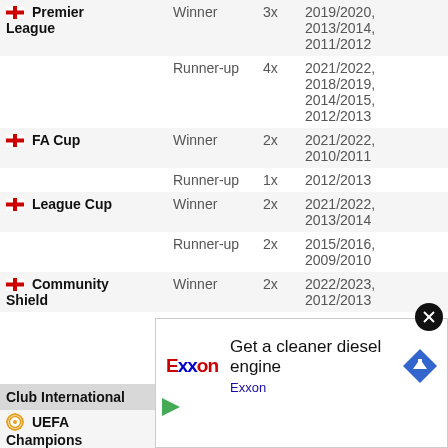| Competition | Result | Count | Seasons |
| --- | --- | --- | --- |
| Premier League | Winner | 3x | 2019/2020, 2013/2014, 2011/2012 |
|  | Runner-up | 4x | 2021/2022, 2018/2019, 2014/2015, 2012/2013 |
| FA Cup | Winner | 2x | 2021/2022, 2010/2011 |
|  | Runner-up | 1x | 2012/2013 |
| League Cup | Winner | 2x | 2021/2022, 2013/2014 |
|  | Runner-up | 2x | 2015/2016, 2009/2010 |
| Community Shield | Winner | 2x | 2022/2023, 2012/2013 |
|  | Runner-up | 4x | 2020/2021, 2019/2020, 2014/2015, 2011/2012 |
| Club International |  |  |  |
| UEFA Champions League | Winner | 1x | 2018/2019 |
|  | Runner-up | 2x | 2021/2022, 2017/2018 |
| UEFA Europa League | Runner-up | 1x | 2015/2016 |
| UEFA Super Cup |  |  |  |
| FIFA Club World Cup |  |  |  |
| Audi Cup |  |  |  |
[Figure (infographic): Exxon advertisement overlay: 'Get a cleaner diesel engine — Exxon']